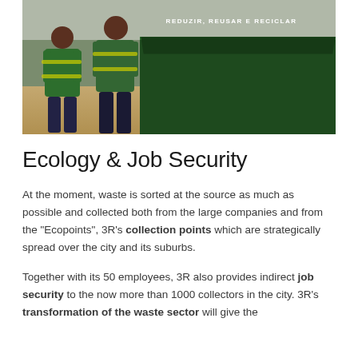[Figure (photo): Two workers in green uniforms and reflective vests standing in front of a large dark green dumpster/waste container with text 'REDUZIR, REUSAR E RECICLAR' on it.]
Ecology & Job Security
At the moment, waste is sorted at the source as much as possible and collected both from the large companies and from the "Ecopoints", 3R's collection points which are strategically spread over the city and its suburbs.
Together with its 50 employees, 3R also provides indirect job security to the now more than 1000 collectors in the city. 3R's transformation of the waste sector will give the